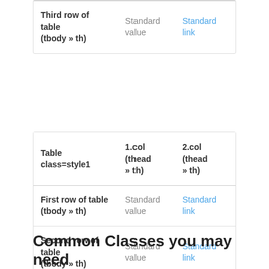|  | 1.col (thead » th) | 2.col (thead » th) |
| --- | --- | --- |
| Third row of table (tbody » th) | Standard value | Standard link |
| Table class=style1 | 1.col (thead » th) | 2.col (thead » th) |
| --- | --- | --- |
| First row of table (tbody » th) | Standard value | Standard link |
| Second row of table (tbody » th) | Standard value | Standard link |
| Third row of table (tbody » th) | Standard value | Standard link |
Common Classes you may need